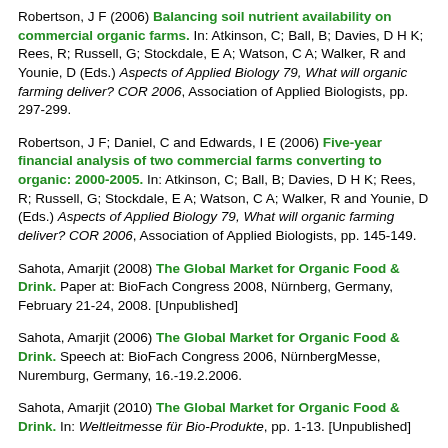Robertson, J F (2006) Balancing soil nutrient availability on commercial organic farms. In: Atkinson, C; Ball, B; Davies, D H K; Rees, R; Russell, G; Stockdale, E A; Watson, C A; Walker, R and Younie, D (Eds.) Aspects of Applied Biology 79, What will organic farming deliver? COR 2006, Association of Applied Biologists, pp. 297-299.
Robertson, J F; Daniel, C and Edwards, I E (2006) Five-year financial analysis of two commercial farms converting to organic: 2000-2005. In: Atkinson, C; Ball, B; Davies, D H K; Rees, R; Russell, G; Stockdale, E A; Watson, C A; Walker, R and Younie, D (Eds.) Aspects of Applied Biology 79, What will organic farming deliver? COR 2006, Association of Applied Biologists, pp. 145-149.
Sahota, Amarjit (2008) The Global Market for Organic Food & Drink. Paper at: BioFach Congress 2008, Nürnberg, Germany, February 21-24, 2008. [Unpublished]
Sahota, Amarjit (2006) The Global Market for Organic Food & Drink. Speech at: BioFach Congress 2006, NürnbergMesse, Nuremburg, Germany, 16.-19.2.2006.
Sahota, Amarjit (2010) The Global Market for Organic Food & Drink. In: Weltleitmesse für Bio-Produkte, pp. 1-13. [Unpublished]